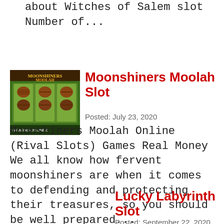about Witches of Salem slot Number of...
[Figure (screenshot): Moonshiners Moolah slot game screenshot showing slot reels with barrel and moonshine symbols on a green background, with casino-on-line.c watermark at bottom]
Moonshiners Moolah Slot
Posted: July 23, 2020
Moonshiners Moolah Online (Rival Slots) Games Real Money We all know how fervent moonshiners are when it comes to defending and protecting their treasures, so you should be well prepared...
Lucky Labyrinth Slot
Posted: September 22, 2020